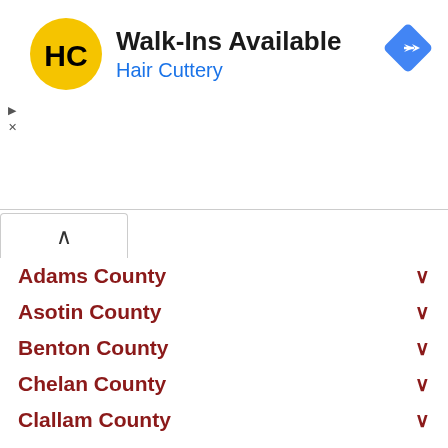[Figure (infographic): Hair Cuttery advertisement banner with HC logo (yellow circle with black HC letters), text 'Walk-Ins Available' in bold black and 'Hair Cuttery' in blue, and a blue diamond navigation icon in the top right corner.]
Adams County
Asotin County
Benton County
Chelan County
Clallam County
Clark County
Columbia County
Cowlitz County